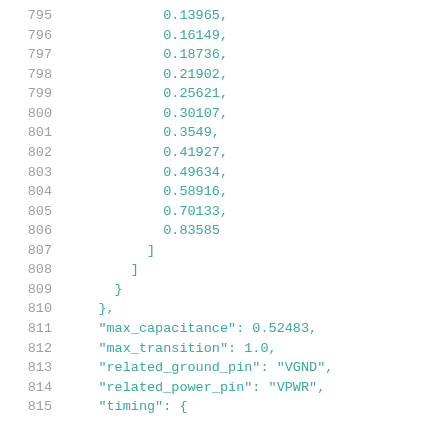Code listing lines 795-815 showing JSON numeric array values and object properties including max_capacitance, max_transition, related_ground_pin, related_power_pin, and timing fields.